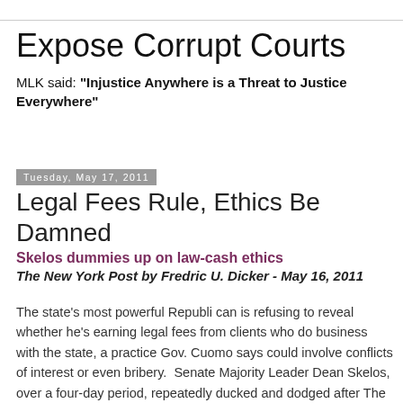Expose Corrupt Courts
MLK said: "Injustice Anywhere is a Threat to Justice Everywhere"
Tuesday, May 17, 2011
Legal Fees Rule, Ethics Be Damned
Skelos dummies up on law-cash ethics
The New York Post by Fredric U. Dicker  -  May 16, 2011
The state's most powerful Republi can is refusing to reveal whether he's earning legal fees from clients who do business with the state, a practice Gov. Cuomo says could involve conflicts of interest or even bribery.  Senate Majority Leader Dean Skelos, over a four-day period, repeatedly ducked and dodged after The Post asked the simple question of whether he's representing legal clients who have business before state government.  The Nassau County-based Skelos, who